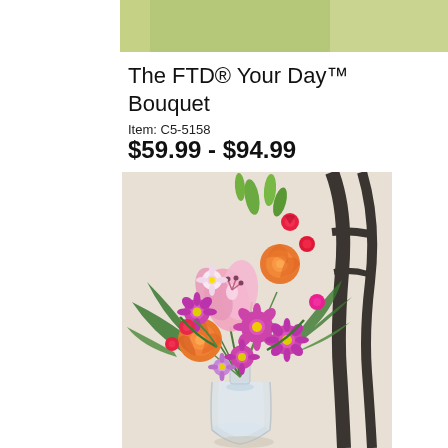[Figure (photo): Partial photo of a light green/sage colored bedding or fabric at the top of the page, cropped]
The FTD® Your Day™ Bouquet
Item: C5-5158
$59.99 - $94.99
[Figure (photo): A colorful floral bouquet in a clear glass vase placed on a dark metal chair. The bouquet contains orange roses, pink Asiatic lilies with green buds, magenta/purple daisies, red carnations, and green fern foliage. The background is a neutral beige/off-white.]